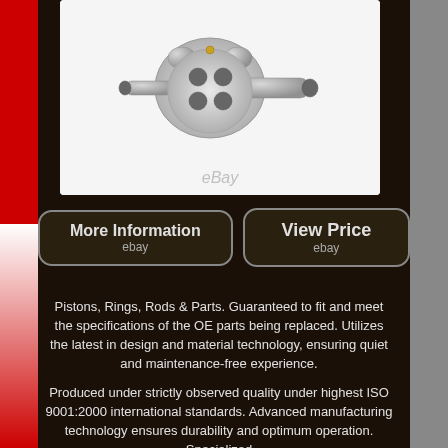[Figure (photo): Mechanical automotive part - appears to be a transmission or engine component, silver/steel colored, on white background with eBay watermark]
More Information
ebay
View Price
ebay
Pistons, Rings, Rods & Parts. Guaranteed to fit and meet the specifications of the OE parts being replaced. Utilizes the latest in design and material technology, ensuring quiet and maintenance-free experience.
Produced under strictly observed quality under highest ISO 9001:2000 international standards. Advanced manufacturing technology ensures durability and optimum operation. Specialized